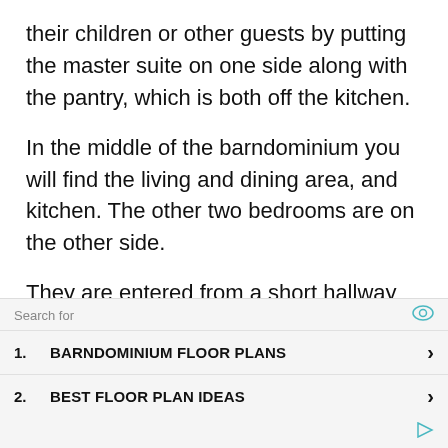their children or other guests by putting the master suite on one side along with the pantry, which is both off the kitchen.
In the middle of the barndominium you will find the living and dining area, and kitchen. The other two bedrooms are on the other side.
They are entered from a short hallway off the dining area.  It is a shared bathroom
Search for
1. BARNDOMINIUM FLOOR PLANS
2. BEST FLOOR PLAN IDEAS